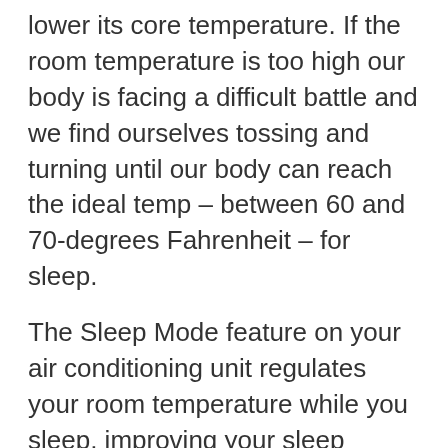lower its core temperature. If the room temperature is too high our body is facing a difficult battle and we find ourselves tossing and turning until our body can reach the ideal temp – between 60 and 70-degrees Fahrenheit – for sleep.
The Sleep Mode feature on your air conditioning unit regulates your room temperature while you sleep, improving your sleep quality. It does so in increments, raising or lowering the temperature by .5 to 1 degree per hour. The change is so gradual that you don't even notice it. If you have a newer, higher-end model, it may be equipped with a motion sensor. If you are still and unmoving, the built-in intelligence interprets this as sleeping soundly. If it detects movement it interprets the opposite. It will then send a signal to the unit to either increase or decrease the temperature,